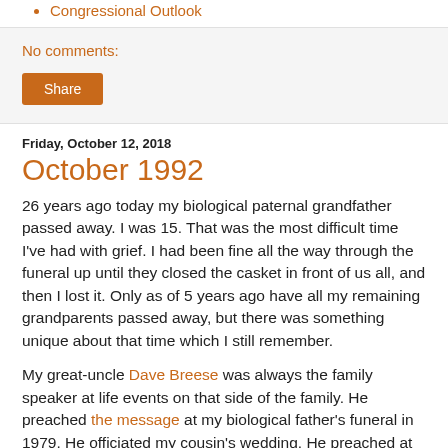Congressional Outlook
No comments:
Share
Friday, October 12, 2018
October 1992
26 years ago today my biological paternal grandfather passed away. I was 15. That was the most difficult time I've had with grief. I had been fine all the way through the funeral up until they closed the casket in front of us all, and then I lost it. Only as of 5 years ago have all my remaining grandparents passed away, but there was something unique about that time which I still remember.
My great-uncle Dave Breese was always the family speaker at life events on that side of the family. He preached the message at my biological father's funeral in 1979. He officiated my cousin's wedding. He preached at the passing